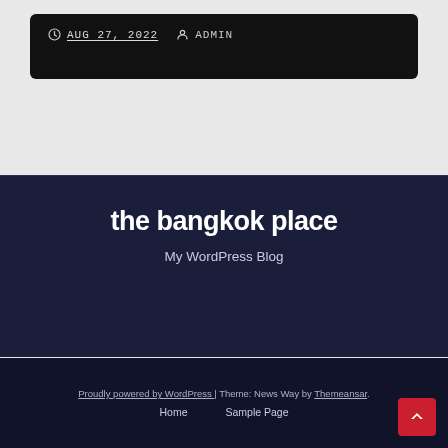AUG 27, 2022  ADMIN
the bangkok place
My WordPress Blog
Proudly powered by WordPress | Theme: News Way by Themeansar.  Home  Sample Page